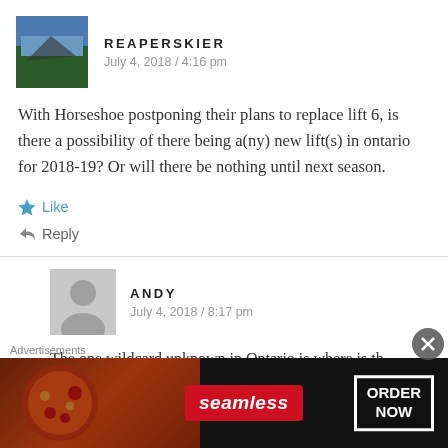REAPERSKIER
July 4, 2018 / 4:16 pm
With Horseshoe postponing their plans to replace lift 6, is there a possibility of there being a(ny) new lift(s) in ontario for 2018-19? Or will there be nothing until next season.
Like
Reply
ANDY
July 4, 2018 / 8:17 pm
The one wildcard unknown in Ontario is where is th
Advertisements